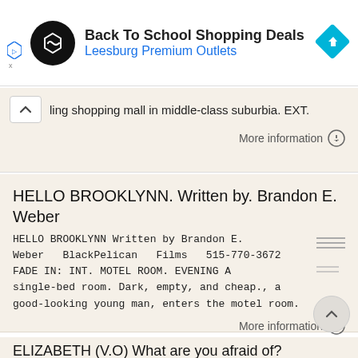[Figure (screenshot): Ad banner for Back To School Shopping Deals at Leesburg Premium Outlets with circular black logo and blue diamond navigation icon]
ling shopping mall in middle-class suburbia. EXT.
More information →
HELLO BROOKLYNN. Written by. Brandon E. Weber
HELLO BROOKLYNN Written by Brandon E. Weber BlackPelican Films 515-770-3672 FADE IN: INT. MOTEL ROOM. EVENING A single-bed room. Dark, empty, and cheap., a good-looking young man, enters the motel room.
More information →
ELIZABETH (V.O) What are you afraid of?